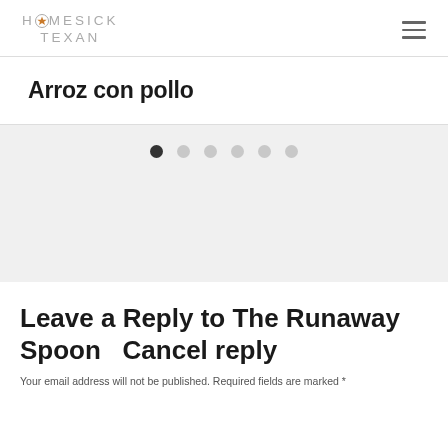HOMESICK TEXAN
Arroz con pollo
[Figure (infographic): Pagination dots: one filled dark circle followed by five lighter gray circles]
Leave a Reply to The Runaway Spoon   Cancel reply
Your email address will not be published. Required fields are marked *